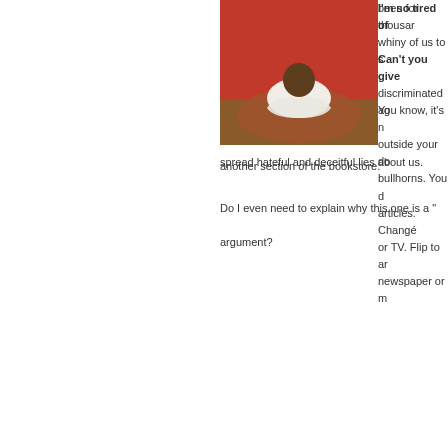[Figure (photo): Close-up photo of gray fabric or cloth, textured surface]
been for thousands of years. whiny of us to s... discriminated ag...
spread hateful and deceitful lies about us.
Do I even need to explain why this one is a "..." argument?
[Figure (photo): Person slumped over a table with head in arms against a red/orange background]
I'm so tired of ... Can't you give ... You know, it's m... outside your do... bullhorns. You d... articles. Change... or TV. Flip to an... newspaper or m...
another section of the bookstore.